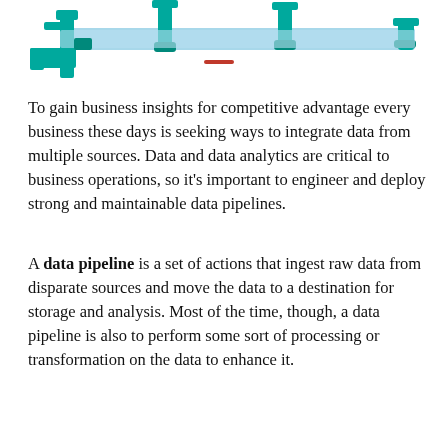[Figure (schematic): Illustration of a data pipeline system with teal/turquoise pipe components, connectors, valves, and a horizontal blue bar representing a pipeline flow.]
To gain business insights for competitive advantage every business these days is seeking ways to integrate data from multiple sources. Data and data analytics are critical to business operations, so it’s important to engineer and deploy strong and maintainable data pipelines.
A data pipeline is a set of actions that ingest raw data from disparate sources and move the data to a destination for storage and analysis. Most of the time, though, a data pipeline is also to perform some sort of processing or transformation on the data to enhance it.